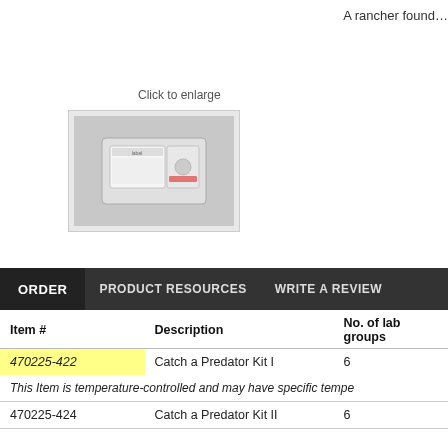A rancher found…
Click to enlarge
[Figure (photo): Small product photo of Catch a Predator Kit I — test kit packets on a gray background]
ORDER   PRODUCT RESOURCES   WRITE A REVIEW
| Item # | Description | No. of lab groups |
| --- | --- | --- |
| 470225-422 | Catch a Predator Kit I | 6 |
| [note] | This Item is temperature-controlled and may have specific tempe… |  |
| 470225-424 | Catch a Predator Kit II | 6 |